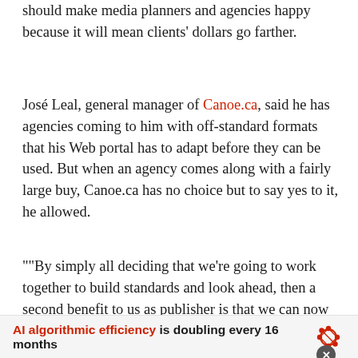should make media planners and agencies happy because it will mean clients' dollars go farther.
José Leal, general manager of Canoe.ca, said he has agencies coming to him with off-standard formats that his Web portal has to adapt before they can be used. But when an agency comes along with a fairly large buy, Canoe.ca has no choice but to say yes to it, he allowed.
""By simply all deciding that we're going to work together to build standards and look ahead, then a second benefit to us as publisher is that we can now be working on sites that are going to launch for July 1 to include the new standard.""
AI algorithmic efficiency is doubling every 16 months